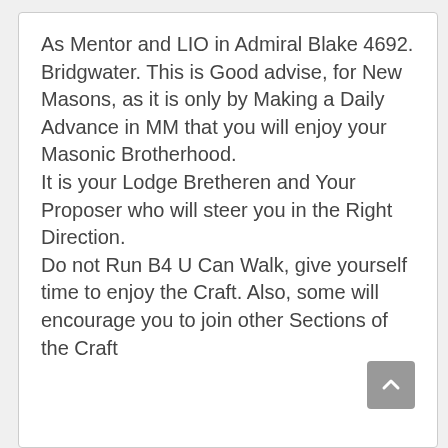As Mentor and LIO in Admiral Blake 4692. Bridgwater. This is Good advise, for New Masons, as it is only by Making a Daily Advance in MM that you will enjoy your Masonic Brotherhood.
It is your Lodge Bretheren and Your Proposer who will steer you in the Right Direction.
Do not Run B4 U Can Walk, give yourself time to enjoy the Craft. Also, some will encourage you to join other Sections of the Craft